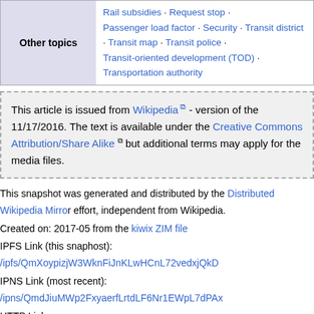| Other topics |  |
| --- | --- |
| Other topics | Rail subsidies · Request stop · Passenger load factor · Security · Transit district · Transit map · Transit police · Transit-oriented development (TOD) · Transportation authority |
This article is issued from Wikipedia - version of the 11/17/2016. The text is available under the Creative Commons Attribution/Share Alike but additional terms may apply for the media files.
This snapshot was generated and distributed by the Distributed Wikipedia Mirror effort, independent from Wikipedia.
Created on: 2017-05 from the kiwix ZIM file
IPFS Link (this snaphost): /ipfs/QmXoypizjW3WknFiJnKLwHCnL72vedxjQkD...
IPNS Link (most recent): /ipns/QmdJiuMWp2FxyaerfLrtdLF6Nr1EWpL7dPAx...
HTTP Link: https://gateway.ipfs.io/ipfs/QmXoypizjW3WknFiJnKLwHCnL72ve...